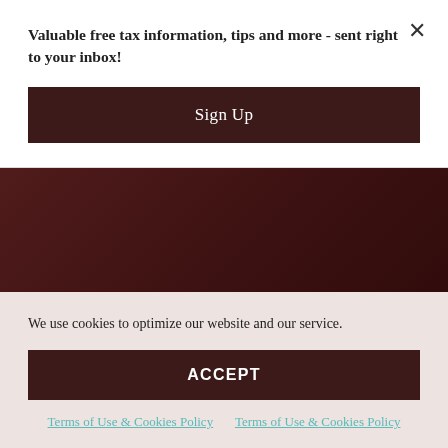Valuable free tax information, tips and more - sent right to your inbox!
Sign Up
April 2021
March 2021
February 2021
January 2021
December 2020
We use cookies to optimize our website and our service.
ACCEPT
Terms of Use & Cookies Policy   Terms of Use & Cookies Policy